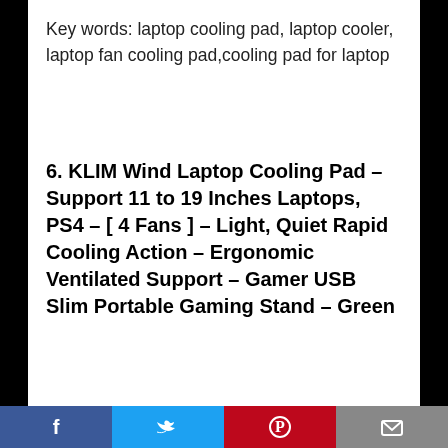Key words: laptop cooling pad, laptop cooler, laptop fan cooling pad,cooling pad for laptop
6. KLIM Wind Laptop Cooling Pad – Support 11 to 19 Inches Laptops, PS4 – [ 4 Fans ] – Light, Quiet Rapid Cooling Action – Ergonomic Ventilated Support – Gamer USB Slim Portable Gaming Stand – Green
[Figure (photo): Product image of KLIM Wind laptop cooling pad with a red circular '2019 NEW VERSION' badge on the left and a yellow Amazon triangle badge on the right, product shown at bottom.]
Facebook | Twitter | Pinterest | Email